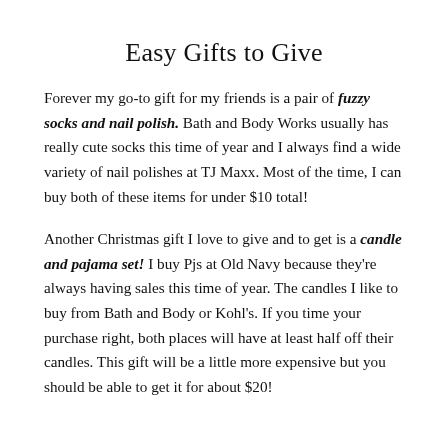Easy Gifts to Give
Forever my go-to gift for my friends is a pair of fuzzy socks and nail polish. Bath and Body Works usually has really cute socks this time of year and I always find a wide variety of nail polishes at TJ Maxx. Most of the time, I can buy both of these items for under $10 total!
Another Christmas gift I love to give and to get is a candle and pajama set! I buy Pjs at Old Navy because they're always having sales this time of year. The candles I like to buy from Bath and Body or Kohl's. If you time your purchase right, both places will have at least half off their candles. This gift will be a little more expensive but you should be able to get it for about $20!